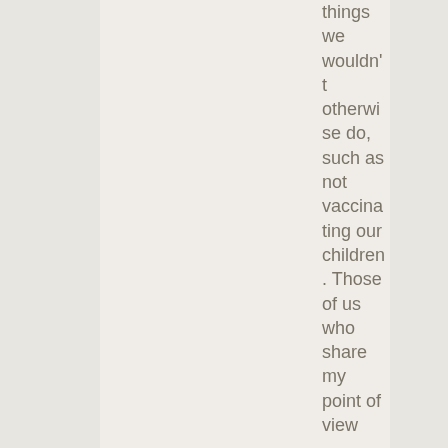things we wouldn't otherwise do, such as not vaccinating our children. Those of us who share my point of view